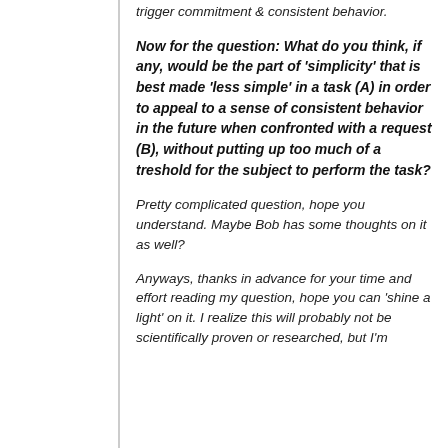button probably doesn't take enough effort to trigger commitment & consistent behavior.
Now for the question: What do you think, if any, would be the part of 'simplicity' that is best made 'less simple' in a task (A) in order to appeal to a sense of consistent behavior in the future when confronted with a request (B), without putting up too much of a treshold for the subject to perform the task?
Pretty complicated question, hope you understand. Maybe Bob has some thoughts on it as well?
Anyways, thanks in advance for your time and effort reading my question, hope you can 'shine a light' on it. I realize this will probably not be scientifically proven or researched, but I'm